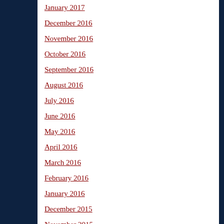January 2017
December 2016
November 2016
October 2016
September 2016
August 2016
July 2016
June 2016
May 2016
April 2016
March 2016
February 2016
January 2016
December 2015
November 2015
October 2015